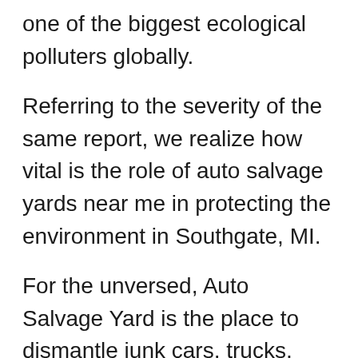one of the biggest ecological polluters globally.
Referring to the severity of the same report, we realize how vital is the role of auto salvage yards near me in protecting the environment in Southgate, MI.
For the unversed, Auto Salvage Yard is the place to dismantle junk cars, trucks, and SUVs to retrieve functional parts of junk vehicles for various purposes.
Auto salvage yards near me in Southgate, MI aren't just there to buy your car or pay top dollar cash for junk cars. It can amuse anyone that auto salvage yards work as the backbone of the automobile industry. Each day thousands of junk cars in Southgate, MI are sold to junk and...